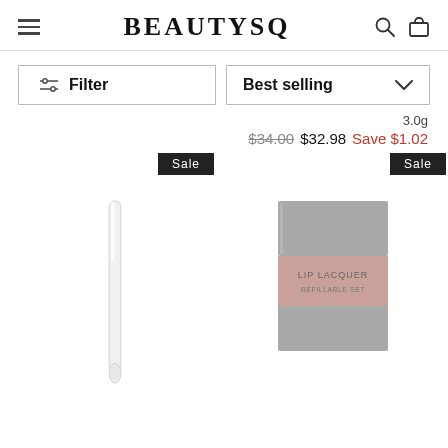BEAUTYSQ
Filter
Best selling
3.0g
$34.00  $32.98  Save $1.02
[Figure (screenshot): Sale badge label in black]
[Figure (photo): White cosmetic product (pencil/applicator) on white background]
[Figure (screenshot): Sale badge label in black, partially cropped on right]
[Figure (photo): Grey and pink cosmetic product box labeled LIP LACQUER on white background]